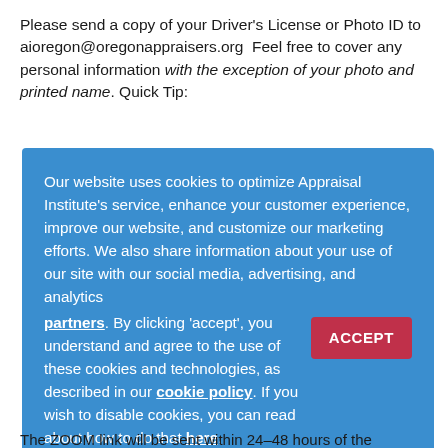Please send a copy of your Driver's License or Photo ID to aioregon@oregonappraisers.org  Feel free to cover any personal information with the exception of your photo and printed name. Quick Tip:
Our website uses cookies to optimize Appraisal Institute's service, enhance your customer experience, improve our website, and customize our marketing efforts. We also share information about your use of our site with our social media, advertising, and analytics partners. By clicking 'accept', you understand and agree to the use of these cookies and technologies, as described in our cookie policy. If you wish to disable cookies, you can read about how to do that here
ZOOM Links and Assistance
The ZOOM link will be sent within 24–48 hours of the